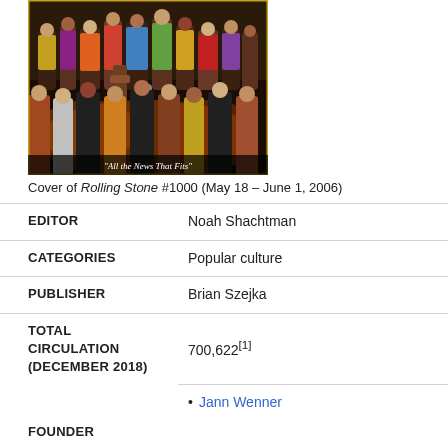[Figure (photo): Cover of Rolling Stone magazine issue #1000, showing a large group of musicians and celebrities on stage. Caption at bottom reads 'All the News That Fits']
Cover of Rolling Stone #1000 (May 18 – June 1, 2006)
| EDITOR | Noah Shachtman |
| CATEGORIES | Popular culture |
| PUBLISHER | Brian Szejka |
| TOTAL CIRCULATION (DECEMBER 2018) | 700,622[1] |
|  | • Jann Wenner |
| FOUNDER |  |